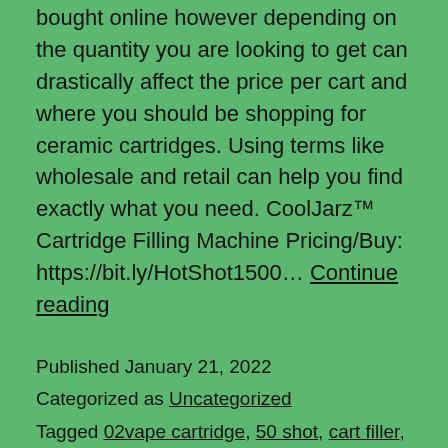bought online however depending on the quantity you are looking to get can drastically affect the price per cart and where you should be shopping for ceramic cartridges. Using terms like wholesale and retail can help you find exactly what you need. CoolJarz™ Cartridge Filling Machine Pricing/Buy: https://bit.ly/HotShot1500… Continue reading
Published January 21, 2022
Categorized as Uncategorized
Tagged 02vape cartridge, 50 shot, cart filler, cart filling machine, cartridge filler, cartridges, ccell, ccell uno pod, cooljarz, Dab Syringe, Delta 8, delta 8 cartridge, distillate